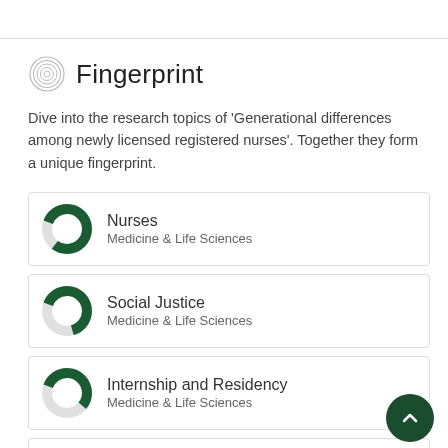Fingerprint
Dive into the research topics of 'Generational differences among newly licensed registered nurses'. Together they form a unique fingerprint.
Nurses — Medicine & Life Sciences
Social Justice — Medicine & Life Sciences
Internship and Residency — Medicine & Life Sciences
Family Conflict — Medicine & Life Sciences